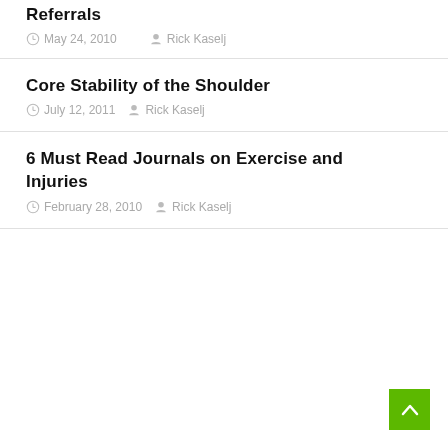Referrals
May 24, 2010  Rick Kaselj
Core Stability of the Shoulder
July 12, 2011  Rick Kaselj
6 Must Read Journals on Exercise and Injuries
February 28, 2010  Rick Kaselj